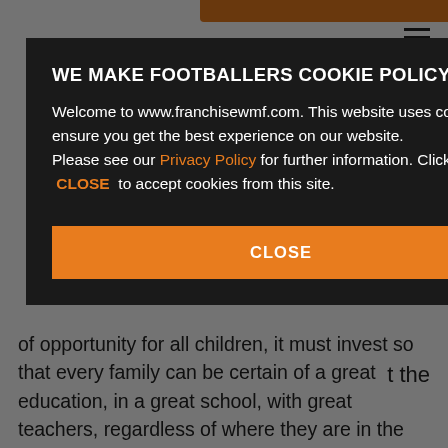[Figure (screenshot): Cookie consent modal overlay on franchisewmf.com website. Dark semi-transparent overlay covers the page. Modal has dark background with title 'WE MAKE FOOTBALLERS COOKIE POLICY', body text about cookies and privacy policy, and an orange CLOSE button.]
WE MAKE FOOTBALLERS COOKIE POLICY
Welcome to www.franchisewmf.com. This website uses cookies to ensure you get the best experience on our website. Please see our Privacy Policy for further information. Click CLOSE to accept cookies from this site.
of opportunity for all children, it must invest so that every family can be certain of a great education, in a great school, with great teachers, regardless of where they are in the country."